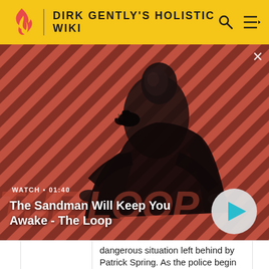DIRK GENTLY'S HOLISTIC WIKI
[Figure (screenshot): Video thumbnail showing a dark-dressed man with a crow on his shoulder against a red and dark diagonal striped background. The Loop title text appears in red. WATCH · 01:40 label and a play button circle are visible.]
The Sandman Will Keep You Awake - The Loop
dangerous situation left behind by Patrick Spring. As the police begin putting